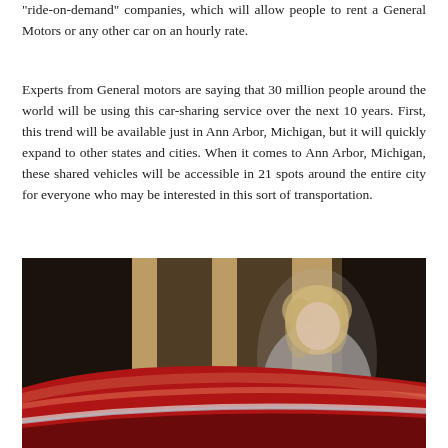"ride-on-demand" companies, which will allow people to rent a General Motors or any other car on an hourly rate.
Experts from General motors are saying that 30 million people around the world will be using this car-sharing service over the next 10 years. First, this trend will be available just in Ann Arbor, Michigan, but it will quickly expand to other states and cities. When it comes to Ann Arbor, Michigan, these shared vehicles will be accessible in 21 spots around the entire city for everyone who may be interested in this sort of transportation.
[Figure (photo): A blurred photo of a woman with blonde hair wearing a grey coat, standing near a building entrance with dark wooden/metal panels in the background. In the foreground, the roof of a red car is visible.]